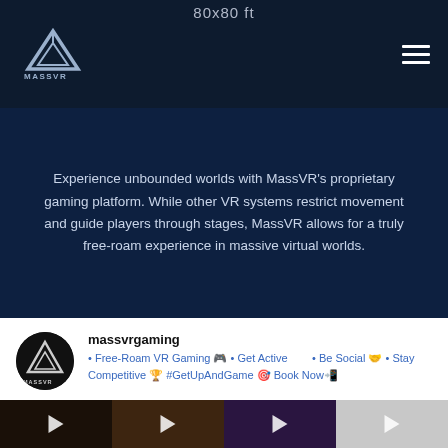MassVR logo | 80x80 ft | hamburger menu
Experience unbounded worlds with MassVR's proprietary gaming platform. While other VR systems restrict movement and guide players through stages, MassVR allows for a truly free-roam experience in massive virtual worlds.
massvrgaming
• Free-Roam VR Gaming 🎮 • Get Active 💪 • Be Social 🤝 • Stay Competitive 🏆 #GetUpAndGame 🎯 Book Now📲
[Figure (screenshot): Row of four video thumbnails with play buttons, showing VR gaming footage]